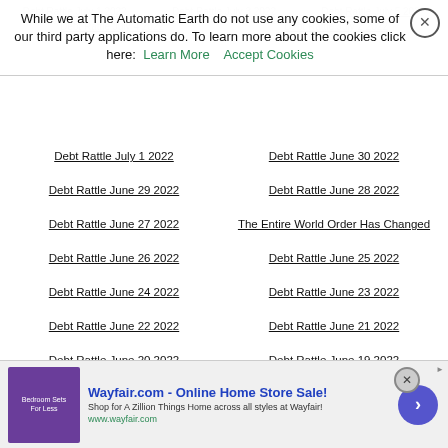While we at The Automatic Earth do not use any cookies, some of our third party applications do. To learn more about the cookies click here: Learn More  Accept Cookies
Debt Rattle July 1 2022
Debt Rattle June 30 2022
Debt Rattle June 29 2022
Debt Rattle June 28 2022
Debt Rattle June 27 2022
The Entire World Order Has Changed
Debt Rattle June 26 2022
Debt Rattle June 25 2022
Debt Rattle June 24 2022
Debt Rattle June 23 2022
Debt Rattle June 22 2022
Debt Rattle June 21 2022
Debt Rattle June 20 2022
Debt Rattle June 19 2022
Debt Rattle June 18 2022
Debt Rattle June 17 2022
Debt Rattle June 16 2022
Some Heroes You Got There!
Debt Rattle June 15 2022
Debt Rattle June 14 2022
[Figure (screenshot): Wayfair.com advertisement banner — Online Home Store Sale!]